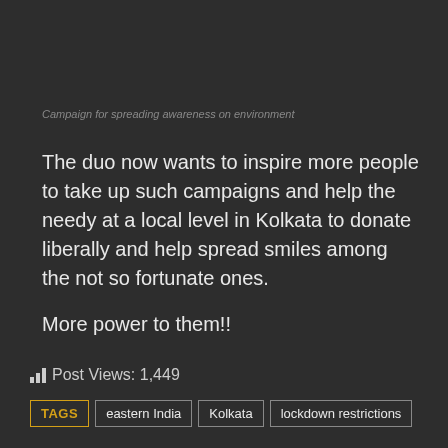Campaign for spreading awareness on environment
The duo now wants to inspire more people to take up such campaigns and help the needy at a local level in Kolkata to donate liberally and help spread smiles among the not so fortunate ones.
More power to them!!
Post Views: 1,449
TAGS  eastern India  Kolkata  lockdown restrictions